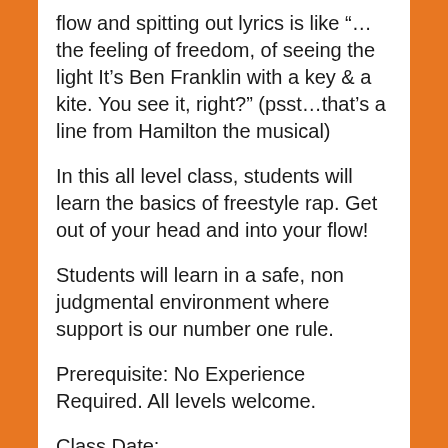flow and spitting out lyrics is like “…the feeling of freedom, of seeing the light It’s Ben Franklin with a key & a kite. You see it, right?” (psst…that’s a line from Hamilton the musical)
In this all level class, students will learn the basics of freestyle rap. Get out of your head and into your flow!
Students will learn in a safe, non judgmental environment where support is our number one rule.
Prerequisite: No Experience Required. All levels welcome.
Class Date:
Wednesday – 10/9